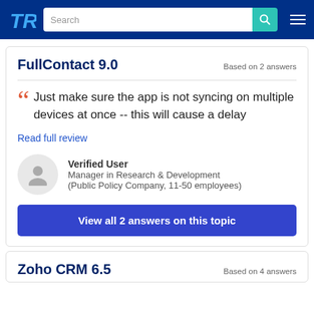TrustRadius — Search bar navigation
FullContact 9.0
Based on 2 answers
Just make sure the app is not syncing on multiple devices at once -- this will cause a delay
Read full review
Verified User
Manager in Research & Development (Public Policy Company, 11-50 employees)
View all 2 answers on this topic
Zoho CRM 6.5
Based on 4 answers